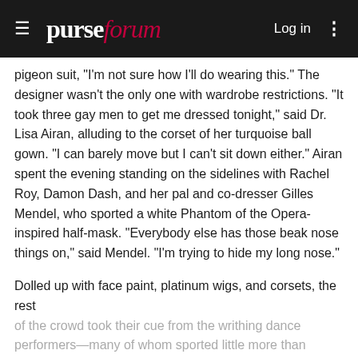purseforum  Log in
pigeon suit, "I'm not sure how I'll do wearing this." The designer wasn't the only one with wardrobe restrictions. "It took three gay men to get me dressed tonight," said Dr. Lisa Airan, alluding to the corset of her turquoise ball gown. "I can barely move but I can't sit down either." Airan spent the evening standing on the sidelines with Rachel Roy, Damon Dash, and her pal and co-dresser Gilles Mendel, who sported a white Phantom of the Opera-inspired half-mask. "Everybody else has those beak nose things on," said Mendel. "I'm trying to hide my long nose."
Dolled up with face paint, platinum wigs, and corsets, the rest of the crowd took their cue from the writhing dance performers—many of whom sported little more than breast paint and shiny, skimpy briefs—and spent all night on the dance floor. As they finished the final twirls of a classic waltz, white